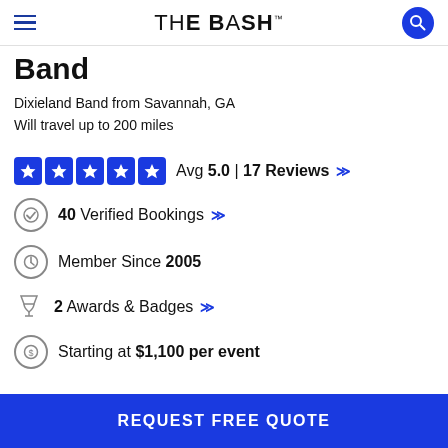THE BASH
Band
Dixieland Band from Savannah, GA
Will travel up to 200 miles
Avg 5.0 | 17 Reviews
40 Verified Bookings
Member Since 2005
2 Awards & Badges
Starting at $1,100 per event
REQUEST FREE QUOTE